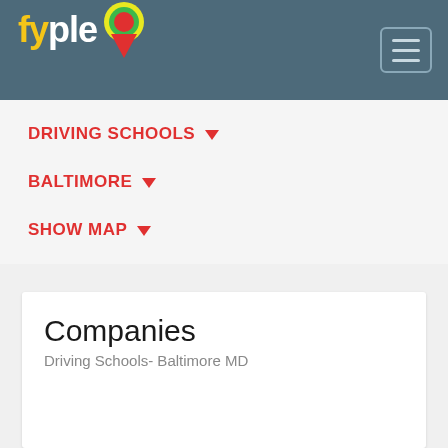fyple [logo with map pin]
DRIVING SCHOOLS
BALTIMORE
SHOW MAP
Companies
Driving Schools- Baltimore MD